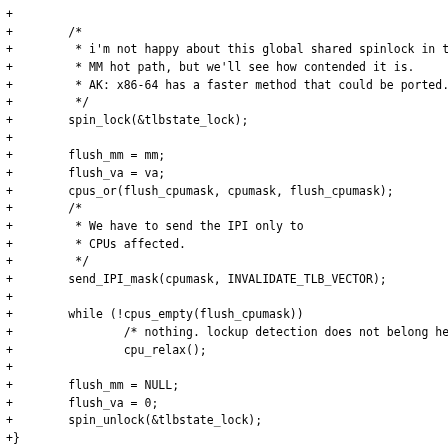+
+        /*
+         * i'm not happy about this global shared spinlock in the
+         * MM hot path, but we'll see how contended it is.
+         * AK: x86-64 has a faster method that could be ported.
+         */
+        spin_lock(&tlbstate_lock);
+
+        flush_mm = mm;
+        flush_va = va;
+        cpus_or(flush_cpumask, cpumask, flush_cpumask);
+        /*
+         * We have to send the IPI only to
+         * CPUs affected.
+         */
+        send_IPI_mask(cpumask, INVALIDATE_TLB_VECTOR);
+
+        while (!cpus_empty(flush_cpumask))
+                /* nothing. lockup detection does not belong here */
+                cpu_relax();
+
+        flush_mm = NULL;
+        flush_va = 0;
+        spin_unlock(&tlbstate_lock);
+}
+